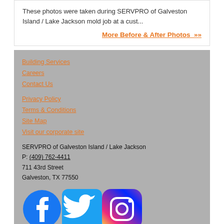These photos were taken during SERVPRO of Galveston Island / Lake Jackson mold job at a cust...
More Before & After Photos »
Building Services
Careers
Contact Us
Privacy Policy
Terms & Conditions
Site Map
Visit our corporate site
SERVPRO of Galveston Island / Lake Jackson
P: (409) 762-4411
711 43rd Street
Galveston, TX 77550
[Figure (logo): Facebook, Twitter, and Instagram social media icons]
© Servpro Industries, LLC. – All services in the U.S. performed by independently owned and operated franchises of Servpro Industries, LLC.
© Servpro Industries (Canada) ULC – All services in Canada performed by independently owned and operated franchises of Servpro Industries (Canada) ULC.